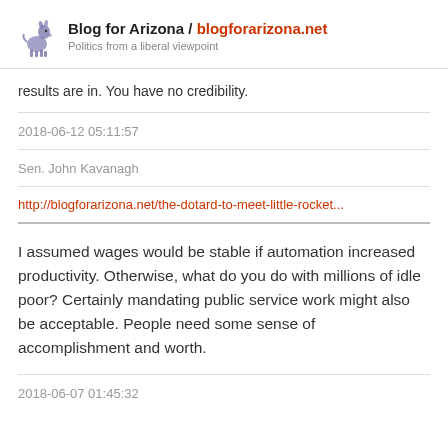Blog for Arizona / blogforarizona.net
Politics from a liberal viewpoint
results are in. You have no credibility.
2018-06-12 05:11:57
Sen. John Kavanagh
http://blogforarizona.net/the-dotard-to-meet-little-rocket...
I assumed wages would be stable if automation increased productivity. Otherwise, what do you do with millions of idle poor? Certainly mandating public service work might also be acceptable. People need some sense of accomplishment and worth.
2018-06-07 01:45:32